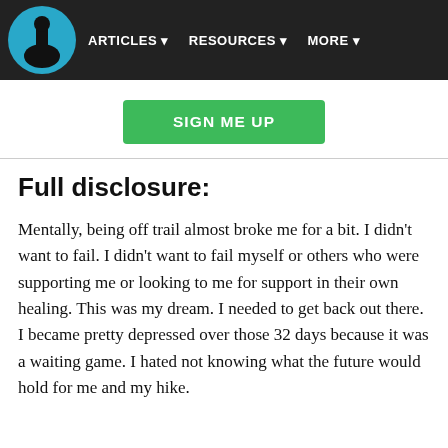ARTICLES  RESOURCES  MORE
SIGN ME UP
Full disclosure:
Mentally, being off trail almost broke me for a bit. I didn’t want to fail. I didn’t want to fail myself or others who were supporting me or looking to me for support in their own healing. This was my dream. I needed to get back out there. I became pretty depressed over those 32 days because it was a waiting game. I hated not knowing what the future would hold for me and my hike.